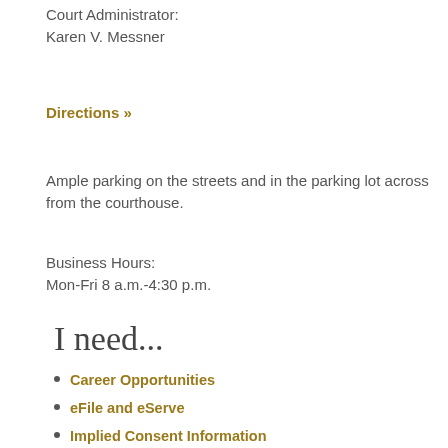Court Administrator:
Karen V. Messner
Directions »
Ample parking on the streets and in the parking lot across from the courthouse.
Business Hours:
Mon-Fri 8 a.m.-4:30 p.m.
I need...
Career Opportunities
eFile and eServe
Implied Consent Information